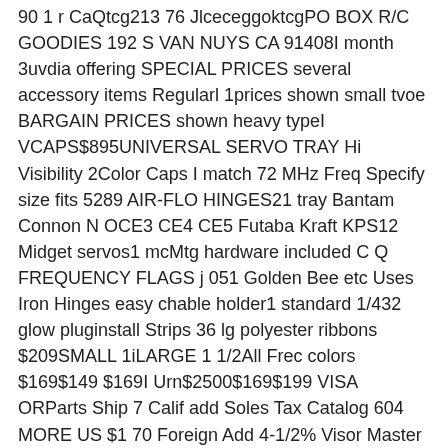90 1 r CaQtcg213 76 JlceceggoktcgPO BOX R/C GOODIES 192 S VAN NUYS CA 91408I month 3uvdia offering SPECIAL PRICES several accessory items Regularl 1prices shown small tvoe BARGAIN PRICES shown heavy typeI VCAPS$895UNIVERSAL SERVO TRAY Hi Visibility 2Color Caps I match 72 MHz Freq Specify size fits 5289 AIR-FLO HINGES21 tray Bantam Connon N OCE3 CE4 CE5 Futaba Kraft KPS12 Midget servos1 mcMtg hardware included C Q FREQUENCY FLAGS j 051 Golden Bee etc Uses Iron Hinges easy chable holder1 standard 1/432 glow pluginstall Strips 36 lg polyester ribbons $209SMALL 1iLARGE 1 1/2All Frec colors $169$149 $169I Urn$2500$169$199 VISA ORParts Ship 7 Calif add Soles Tax Catalog 604 MORE US $1 70 Foreign Add 4-1/2% Visor Master Cordj heat desired Saran film may painted inside prior application Most spray paint will work will look like expensive factory-painted -glued Mylar films